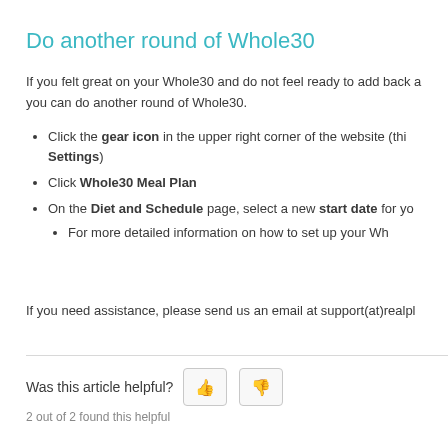Do another round of Whole30
If you felt great on your Whole30 and do not feel ready to add back a you can do another round of Whole30.
Click the gear icon in the upper right corner of the website (this Settings)
Click Whole30 Meal Plan
On the Diet and Schedule page, select a new start date for y
For more detailed information on how to set up your Wh
If you need assistance, please send us an email at support(at)realpl
Was this article helpful?
2 out of 2 found this helpful